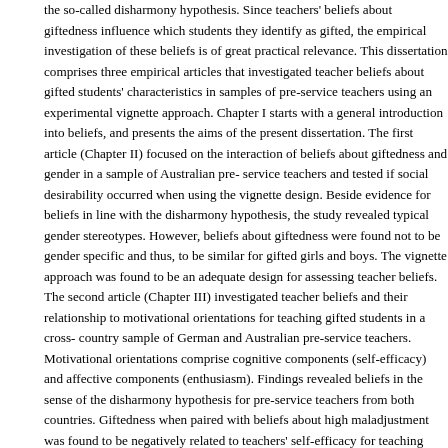the so-called disharmony hypothesis. Since teachers' beliefs about giftedness influence which students they identify as gifted, the empirical investigation of these beliefs is of great practical relevance. This dissertation comprises three empirical articles that investigated teacher beliefs about gifted students' characteristics in samples of pre-service teachers using an experimental vignette approach. Chapter I starts with a general introduction into beliefs, and presents the aims of the present dissertation. The first article (Chapter II) focused on the interaction of beliefs about giftedness and gender in a sample of Australian pre-service teachers and tested if social desirability occurred when using the vignette design. Beside evidence for beliefs in line with the disharmony hypothesis, the study revealed typical gender stereotypes. However, beliefs about giftedness were found not to be gender specific and thus, to be similar for gifted girls and boys. The vignette approach was found to be an adequate design for assessing teacher beliefs. The second article (Chapter III) investigated teacher beliefs and their relationship to motivational orientations for teaching gifted students in a cross-country sample of German and Australian pre-service teachers. Motivational orientations comprise cognitive components (self-efficacy) and affective components (enthusiasm). Findings revealed beliefs in the sense of the disharmony hypothesis for pre-service teachers from both countries. Giftedness when paired with beliefs about high maladjustment was found to be negatively related to teachers' self-efficacy for teaching gifted students. The third article (Chapter IV) examined the role of teachers' belief in a just world for the formation of beliefs using a sample of Belgian pre-service teachers. It was found that the stronger pre-service teachers' belief in a just world was, the more they perceived gifted students' high intellectual ability as unfair and thus, neutralized this perception by de-evaluating students' non-cognitive abilities. In a general discussion,